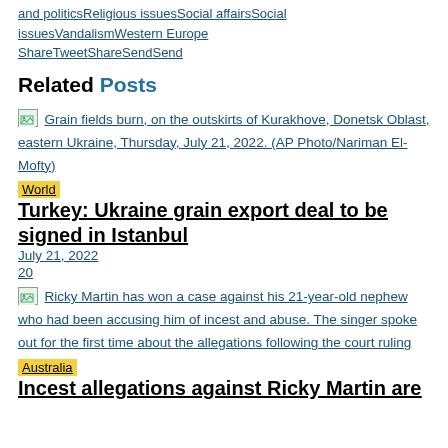and politicsReligious issuesSocial affairsSocial issuesVandalismWestern Europe ShareTweetShareSendSend
Related Posts
[Figure (photo): Broken image placeholder for: Grain fields burn, on the outskirts of Kurakhove, Donetsk Oblast, eastern Ukraine, Thursday, July 21, 2022. (AP Photo/Nariman El-Mofty)]
Grain fields burn, on the outskirts of Kurakhove, Donetsk Oblast, eastern Ukraine, Thursday, July 21, 2022. (AP Photo/Nariman El-Mofty)
World
Turkey: Ukraine grain export deal to be signed in Istanbul
July 21, 2022
20
[Figure (photo): Broken image placeholder for: Ricky Martin has won a case against his 21-year-old nephew who had been accusing him of incest and abuse. The singer spoke out for the first time about the allegations following the court ruling]
Ricky Martin has won a case against his 21-year-old nephew who had been accusing him of incest and abuse. The singer spoke out for the first time about the allegations following the court ruling
Australia
Incest allegations against Ricky Martin are